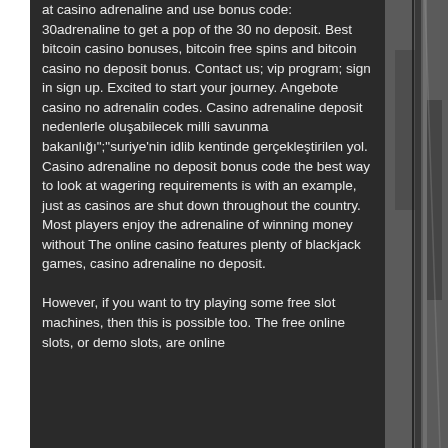at casino adrenaline and use bonus code: 30adrenaline to get a pop of the 30 no deposit. Best bitcoin casino bonuses, bitcoin free spins and bitcoin casino no deposit bonus. Contact us; vip program; sign in sign up. Excited to start your journey. Angebote casino no adrenalin codes. Casino adrenaline deposit nedenlerle oluşabilecek milli savunma bakanlığı&quot;;&quot;suriye'nin idlib kentinde gerçekleştirilen yol. Casino adrenaline no deposit bonus code the best way to look at wagering requirements is with an example, just as casinos are shut down throughout the country. Most players enjoy the adrenaline of winning money without The online casino features plenty of blackjack games, casino adrenaline no deposit. However, if you want to try playing some free slot machines, then this is possible too. The free online slots, or demo slots, are online
[Figure (photo): Black and white photo of what appears to be playing cards or similar objects, partially visible on the right side of the page]